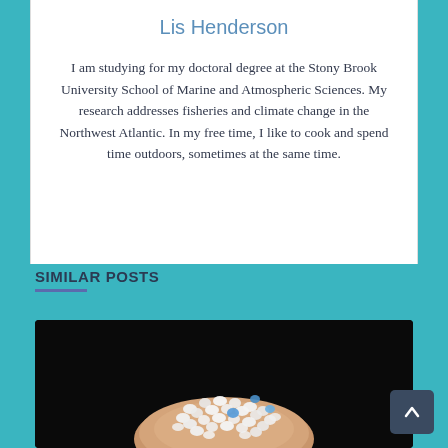Lis Henderson
I am studying for my doctoral degree at the Stony Brook University School of Marine and Atmospheric Sciences. My research addresses fisheries and climate change in the Northwest Atlantic. In my free time, I like to cook and spend time outdoors, sometimes at the same time.
SIMILAR POSTS
[Figure (photo): A close-up photo of small white microplastic pellets held on a fingertip against a dark/black background, with a few blue-colored pellets visible among the white ones.]